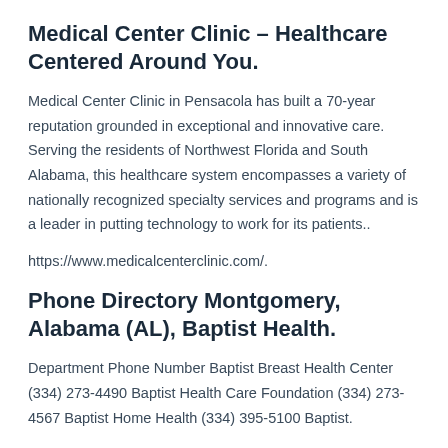Medical Center Clinic – Healthcare Centered Around You.
Medical Center Clinic in Pensacola has built a 70-year reputation grounded in exceptional and innovative care. Serving the residents of Northwest Florida and South Alabama, this healthcare system encompasses a variety of nationally recognized specialty services and programs and is a leader in putting technology to work for its patients..
https://www.medicalcenterclinic.com/.
Phone Directory Montgomery, Alabama (AL), Baptist Health.
Department Phone Number Baptist Breast Health Center (334) 273-4490 Baptist Health Care Foundation (334) 273-4567 Baptist Home Health (334) 395-5100 Baptist.